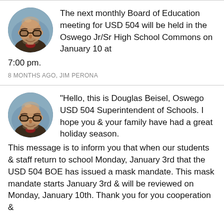The next monthly Board of Education meeting for USD 504 will be held in the Oswego Jr/Sr High School Commons on January 10 at 7:00 pm.
8 MONTHS AGO, JIM PERONA
"Hello, this is Douglas Beisel, Oswego USD 504 Superintendent of Schools. I hope you & your family have had a great holiday season. This message is to inform you that when our students & staff return to school Monday, January 3rd that the USD 504 BOE has issued a mask mandate. This mask mandate starts January 3rd & will be reviewed on Monday, January 10th. Thank you for you cooperation &